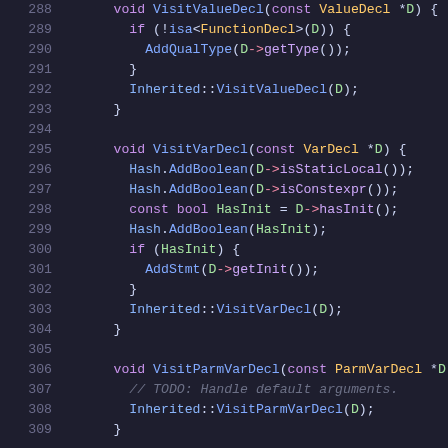Code snippet showing C++ AST visitor methods: VisitValueDecl (lines 288-293), VisitVarDecl (lines 295-304), and VisitParmVarDecl (lines 306-309)